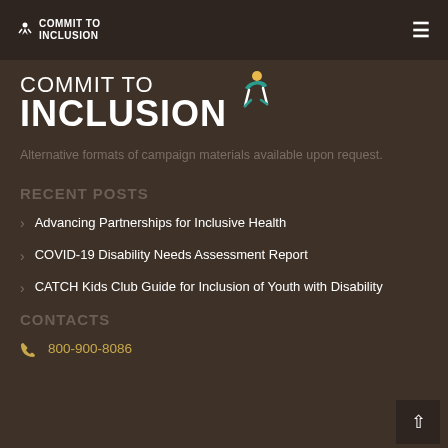COMMIT TO INCLUSION
[Figure (logo): Commit to Inclusion logo with stylized figure icon, white text on dark brown background]
Alternative formats of campaign materials available upon request.
RECENT POSTS
Advancing Partnerships for Inclusive Health
COVID-19 Disability Needs Assessment Report
CATCH Kids Club Guide for Inclusion of Youth with Disability
CONTACTS
800-900-8086